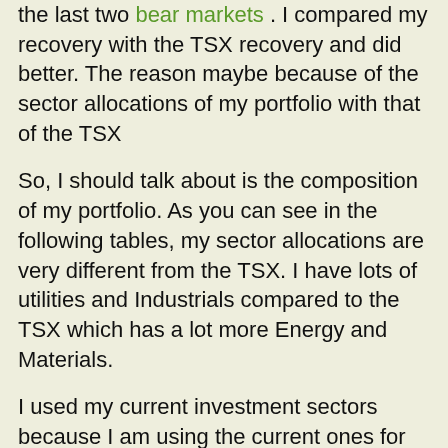the last two bear markets . I compared my recovery with the TSX recovery and did better. The reason maybe because of the sector allocations of my portfolio with that of the TSX
So, I should talk about is the composition of my portfolio. As you can see in the following tables, my sector allocations are very different from the TSX. I have lots of utilities and Industrials compared to the TSX which has a lot more Energy and Materials.
I used my current investment sectors because I am using the current ones for TSX. I would image these would change because at different times different sectors would do better or worse, so the investment in different sectors would change.
The first table is sorted from largest to smallest using TSX's sectors.
| Sector | TSX | me 2016 |
| --- | --- | --- |
| Financials | 37.48% | 34.05% |
|  |  |  |